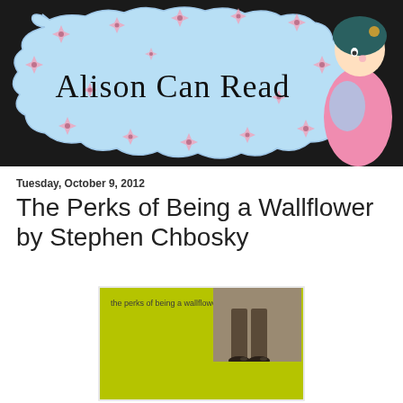[Figure (illustration): Blog header banner for 'Alison Can Read' — black background with a decorative cloud/badge shape in light blue with pink star flowers, handwritten-style blog title text, and a manga-style girl illustration on the right.]
Tuesday, October 9, 2012
The Perks of Being a Wallflower by Stephen Chbosky
[Figure (photo): Book cover of 'The Perks of Being a Wallflower' — bright yellow-green (chartreuse) cover with the title text in dark letters at top left, and a sepia-toned photograph inset at top right showing a person's legs/feet.]